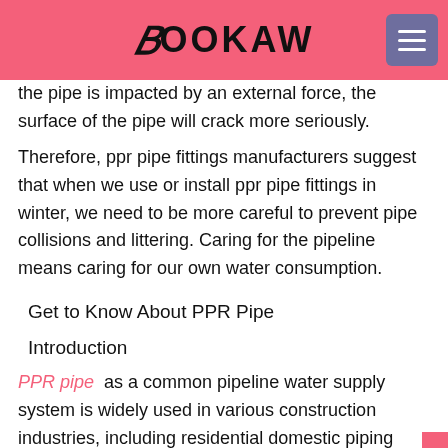BOOKAW
the pipe is impacted by an external force, the surface of the pipe will crack more seriously.
Therefore, ppr pipe fittings manufacturers suggest that when we use or install ppr pipe fittings in winter, we need to be more careful to prevent pipe collisions and littering. Caring for the pipeline means caring for our own water consumption.
Get to Know About PPR Pipe
Introduction
PPR pipe as a common pipeline water supply system is widely used in various construction industries, including residential domestic piping systems, hotels and shopping mall plumbing projects, etc...
So how much do you know the PPR pipe you are using? How do you